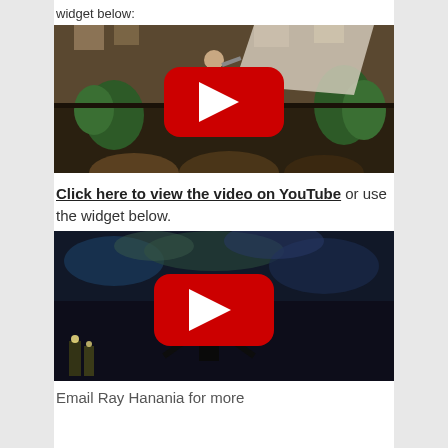widget below:
[Figure (screenshot): YouTube video thumbnail showing a performer on stage in a hall with plants and decorations, with a large red YouTube play button overlay]
Click here to view the video on YouTube or use the widget below.
[Figure (screenshot): YouTube video thumbnail showing a dark stage scene with a performer and a large red YouTube play button overlay]
Email Ray Hanania for more